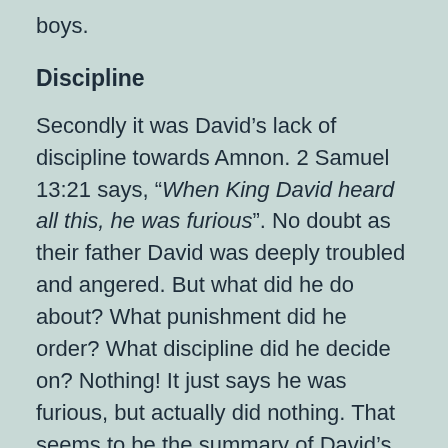boys.
Discipline
Secondly it was David’s lack of discipline towards Amnon. 2 Samuel 13:21 says, “When King David heard all this, he was furious”. No doubt as their father David was deeply troubled and angered. But what did he do about? What punishment did he order? What discipline did he decide on? Nothing! It just says he was furious, but actually did nothing. That seems to be the summary of David’s parenting. He sinned as a parent. He didn’t